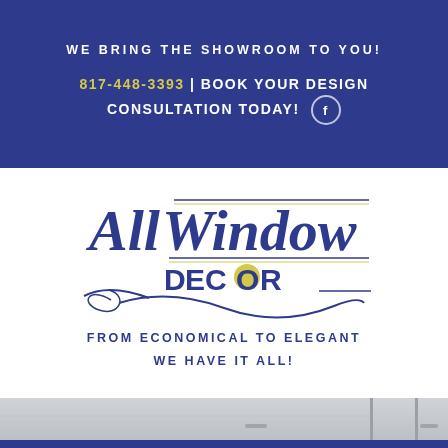WE BRING THE SHOWROOM TO YOU!
817-448-3393 | BOOK YOUR DESIGN CONSULTATION TODAY!
[Figure (logo): All Window Decor logo with italic script text in navy blue and yellow accents]
FROM ECONOMICAL TO ELEGANT
WE HAVE IT ALL!
[Figure (photo): Bottom portion showing window blinds in grey/white tones with blue bottom bar]